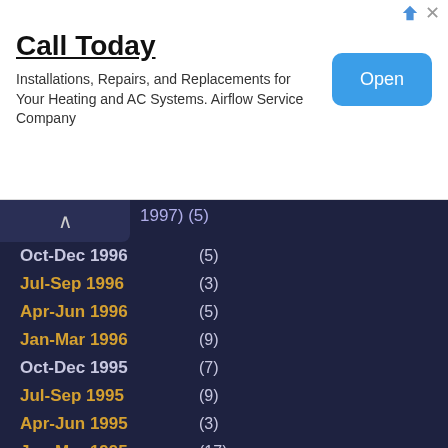[Figure (other): Advertisement banner: 'Call Today' - Installations, Repairs, and Replacements for Your Heating and AC Systems. Airflow Service Company. With an 'Open' button.]
Oct-Dec 1996 (5)
Jul-Sep 1996 (3)
Apr-Jun 1996 (5)
Jan-Mar 1996 (9)
Oct-Dec 1995 (7)
Jul-Sep 1995 (9)
Apr-Jun 1995 (3)
Jan-Mar 1995 (17)
Oct-Dec 1994 (17)
Jul-Sep 1994 (7)
Apr-Jun 1994 (14)
Jan-Mar 1994 (16)
Oct-Dec 1993 (6)